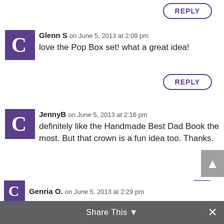REPLY (button, top)
Glenn S on June 5, 2013 at 2:09 pm
love the Pop Box set! what a great idea!
REPLY
JennyB on June 5, 2013 at 2:16 pm
definitely like the Handmade Best Dad Book the most. But that crown is a fun idea too. Thanks.
[Figure (screenshot): Advertisement: Save Big on Goodyear Tires - Virginia Tire & Auto of Ashburn]
Genria O. on June 5, 2013 at 2:29 pm
Share This